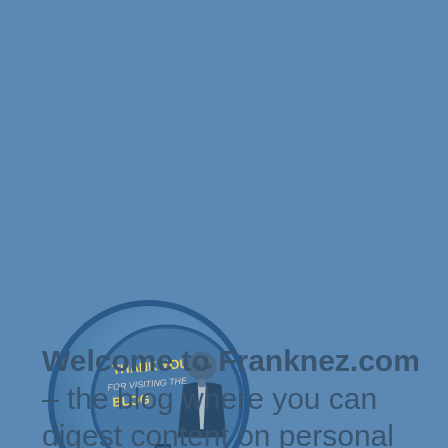[Figure (logo): Circular logo for Franknez.com blog with text 'THANK YOU FOR VISITING THE BLOG' and a person in a suit holding a phone]
Welcome to Franknez.com – the blog where you can digest content on personal finance, side hustle ideas, entrepreneurship, and trending...